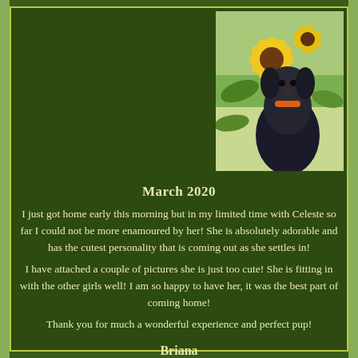[Figure (photo): Photo of a dark-colored puppy among yellow sunflowers and green foliage, with orange accents visible]
March 2020
I just got home early this morning but in my limited time with Celeste so far I could not be more enamoured by her! She is absolutely adorable and has the cutest personality that is coming out as she settles in!
I have attached a couple of pictures she is just too cute! She is fitting in with the other girls well! I am so happy to have her, it was the best part of coming home!
Thank you for much a wonderful experience and perfect pup!
Briana